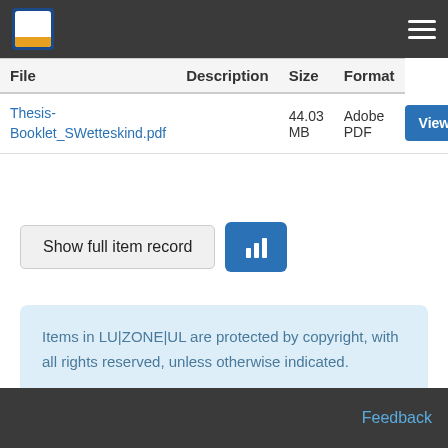[Figure (screenshot): Top navigation bar with institution logo and hamburger menu on dark background]
| File | Description | Size | Format |
| --- | --- | --- | --- |
| Thesis-Booklet_SWetteskind.pdf |  | 44.03 MB | Adobe PDF |
[Figure (screenshot): Show full item record button and bar chart analytics icon button]
Items in LU|ZONE|UL are protected by copyright, with all rights reserved, unless otherwise indicated.
Feedback